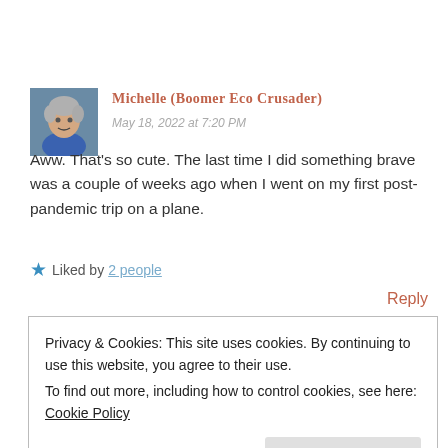[Figure (photo): Small avatar photo of a woman with short gray hair wearing a blue top]
Michelle (Boomer Eco Crusader)
May 18, 2022 at 7:20 PM
Aww. That's so cute. The last time I did something brave was a couple of weeks ago when I went on my first post-pandemic trip on a plane.
★ Liked by 2 people
Reply
Privacy & Cookies: This site uses cookies. By continuing to use this website, you agree to their use.
To find out more, including how to control cookies, see here: Cookie Policy
Close and accept